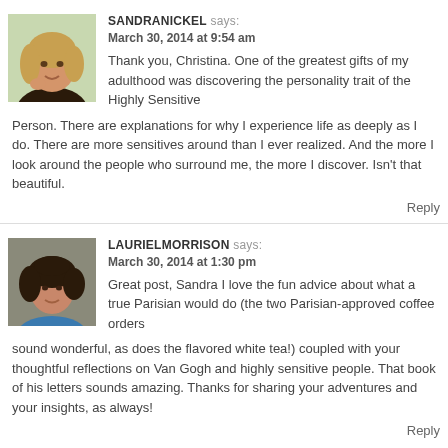SANDRANICKEL says: March 30, 2014 at 9:54 am
Thank you, Christina. One of the greatest gifts of my adulthood was discovering the personality trait of the Highly Sensitive Person. There are explanations for why I experience life as deeply as I do. There are more sensitives around than I ever realized. And the more I look around the people who surround me, the more I discover. Isn't that beautiful.
Reply
LAURIELMORRISON says: March 30, 2014 at 1:30 pm
Great post, Sandra I love the fun advice about what a true Parisian would do (the two Parisian-approved coffee orders sound wonderful, as does the flavored white tea!) coupled with your thoughtful reflections on Van Gogh and highly sensitive people. That book of his letters sounds amazing. Thanks for sharing your adventures and your insights, as always!
Reply
SANDRANICKEL says: March 30, 2014 at 2:00 pm